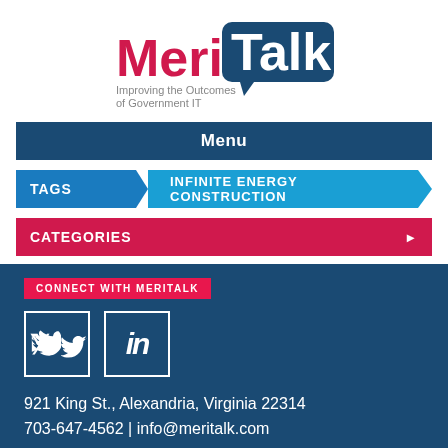[Figure (logo): MeriTalk logo with tagline 'Improving the Outcomes of Government IT']
Menu
TAGS  INFINITE ENERGY CONSTRUCTION
CATEGORIES
CONNECT WITH MERITALK
[Figure (other): Twitter and LinkedIn social media icon buttons]
921 King St., Alexandria, Virginia 22314
703-647-4562 | info@meritalk.com